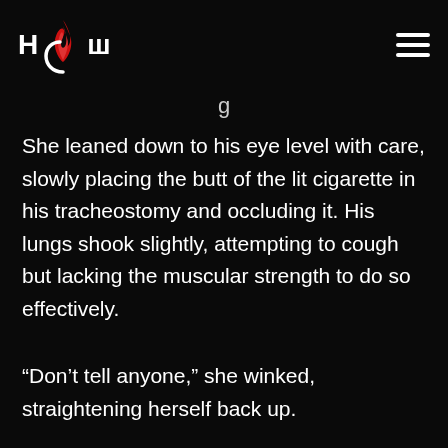HCW [logo with flame]
g
She leaned down to his eye level with care, slowly placing the butt of the lit cigarette in his tracheostomy and occluding it. His lungs shook slightly, attempting to cough but lacking the muscular strength to do so effectively.
“Don’t tell anyone,” she winked, straightening herself back up.